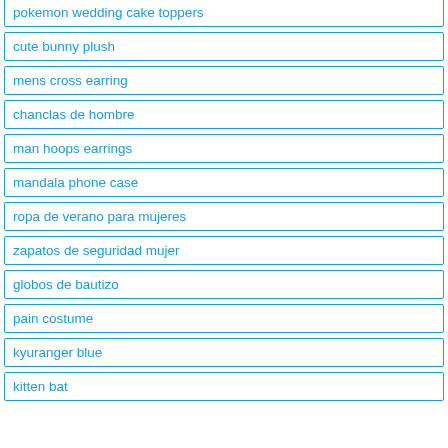pokemon wedding cake toppers
cute bunny plush
mens cross earring
chanclas de hombre
man hoops earrings
mandala phone case
ropa de verano para mujeres
zapatos de seguridad mujer
globos de bautizo
pain costume
kyuranger blue
kitten bat